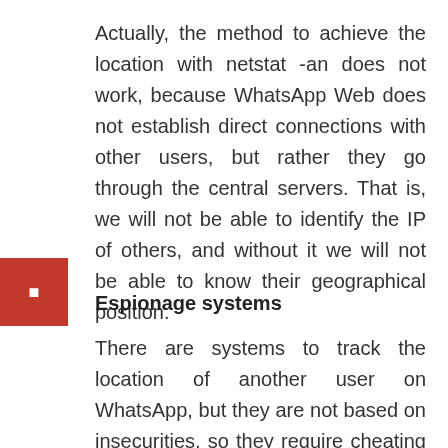Actually, the method to achieve the location with netstat -an does not work, because WhatsApp Web does not establish direct connections with other users, but rather they go through the central servers. That is, we will not be able to identify the IP of others, and without it we will not be able to know their geographical position.
Espionage systems
There are systems to track the location of another user on WhatsApp, but they are not based on insecurities, so they require cheating the other with tricks. Something that is neither ethical nor legal, and bearing in mind that those